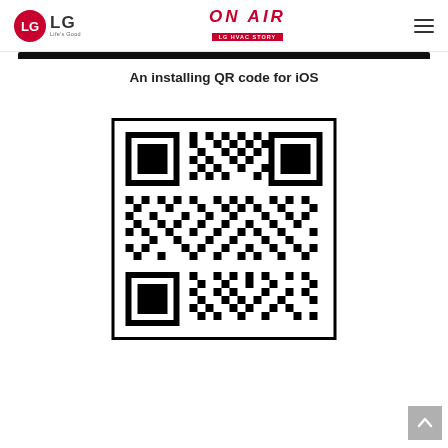LG | ON AIR LG HVAC STORY
[Figure (screenshot): Black navigation bar partially visible at top of content area]
An installing QR code for iOS
[Figure (other): QR code for iOS app installation, square black-and-white matrix barcode with finder patterns in three corners]
[Figure (other): Back to top scroll button (gray square with white up-arrow chevron) in bottom-right corner]